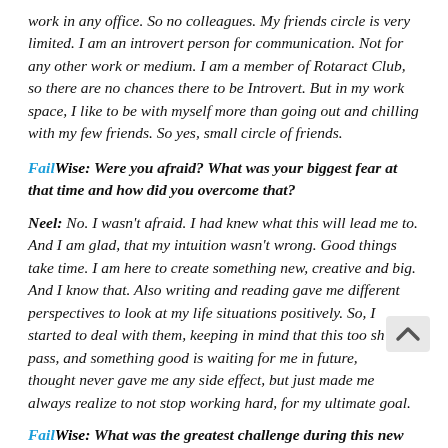work in any office. So no colleagues. My friends circle is very limited. I am an introvert person for communication. Not for any other work or medium. I am a member of Rotaract Club, so there are no chances there to be Introvert. But in my work space, I like to be with myself more than going out and chilling with my few friends. So yes, small circle of friends.
FailWise: Were you afraid? What was your biggest fear at that time and how did you overcome that?
Neel: No. I wasn’t afraid. I had knew what this will lead me to. And I am glad, that my intuition wasn’t wrong. Good things take time. I am here to create something new, creative and big. And I know that. Also writing and reading gave me different perspectives to look at my life situations positively. So, I started to deal with them, keeping in mind that this too shall pass, and something good is waiting for me in future, and that thought never gave me any side effect, but just made me always realize to not stop working hard, for my ultimate goal.
FailWise: What was the greatest challenge during this new...